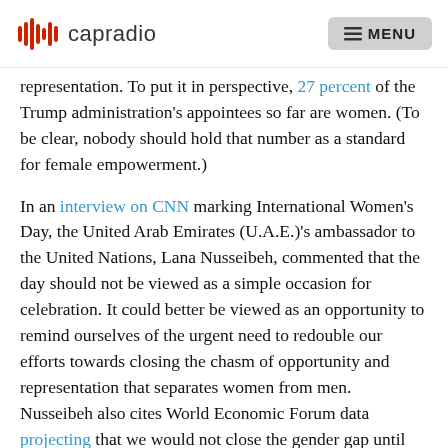capradio | MENU
representation. To put it in perspective, 27 percent of the Trump administration's appointees so far are women. (To be clear, nobody should hold that number as a standard for female empowerment.)
In an interview on CNN marking International Women's Day, the United Arab Emirates (U.A.E.)'s ambassador to the United Nations, Lana Nusseibeh, commented that the day should not be viewed as a simple occasion for celebration. It could better be viewed as an opportunity to remind ourselves of the urgent need to redouble our efforts towards closing the chasm of opportunity and representation that separates women from men. Nusseibeh also cites World Economic Forum data projecting that we would not close the gender gap until the year 2186 should we continue at our current rate of progress.